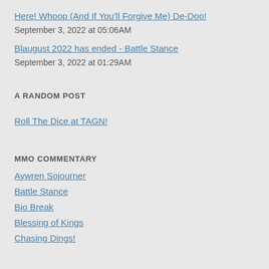Here! Whoop (And If You'll Forgive Me) De-Doo!
September 3, 2022 at 05:06AM
Blaugust 2022 has ended - Battle Stance
September 3, 2022 at 01:29AM
A RANDOM POST
Roll The Dice at TAGN!
MMO COMMENTARY
Aywren Sojourner
Battle Stance
Bio Break
Blessing of Kings
Chasing Dings!